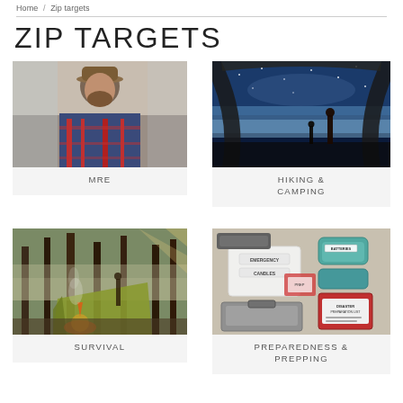Home / Zip targets
ZIP TARGETS
[Figure (photo): Man in flannel shirt outdoors, rugged outdoorsman]
MRE
[Figure (photo): View from inside tent looking up at starry sky with person silhouetted]
HIKING & CAMPING
[Figure (photo): Campsite in forest with tarp shelter and fire]
SURVIVAL
[Figure (photo): Emergency preparedness kit items including labeled boxes for candles, batteries, disaster preparation list]
PREPAREDNESS & PREPPING